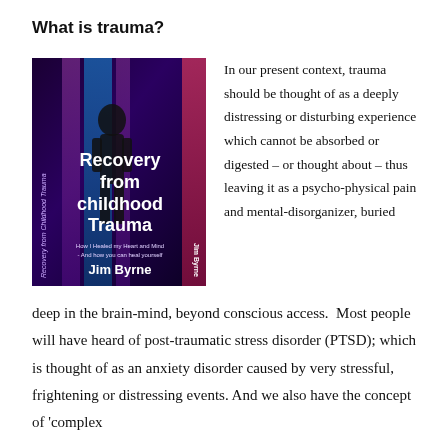What is trauma?
[Figure (photo): Book cover of 'Recovery from childhood Trauma' by Jim Byrne. Subtitle: 'How I Healed my Heart and Mind - And how you can heal yourself'. Dark background with vertical title text on spine.]
In our present context, trauma should be thought of as a deeply distressing or disturbing experience which cannot be absorbed or digested – or thought about – thus leaving it as a psycho-physical pain and mental-disorganizer, buried deep in the brain-mind, beyond conscious access.  Most people will have heard of post-traumatic stress disorder (PTSD); which is thought of as an anxiety disorder caused by very stressful, frightening or distressing events. And we also have the concept of 'complex